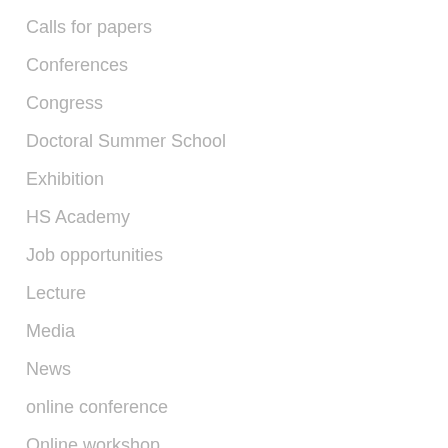Calls for papers
Conferences
Congress
Doctoral Summer School
Exhibition
HS Academy
Job opportunities
Lecture
Media
News
online conference
Online workshop
Other
PhD
Photo